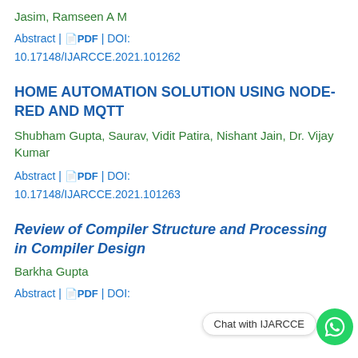Jasim, Ramseen A M
Abstract | PDF | DOI: 10.17148/IJARCCE.2021.101262
HOME AUTOMATION SOLUTION USING NODE-RED AND MQTT
Shubham Gupta, Saurav, Vidit Patira, Nishant Jain, Dr. Vijay Kumar
Abstract | PDF | DOI: 10.17148/IJARCCE.2021.101263
Review of Compiler Structure and Processing in Compiler Design
Barkha Gupta
Abstract | PDF | DOI: